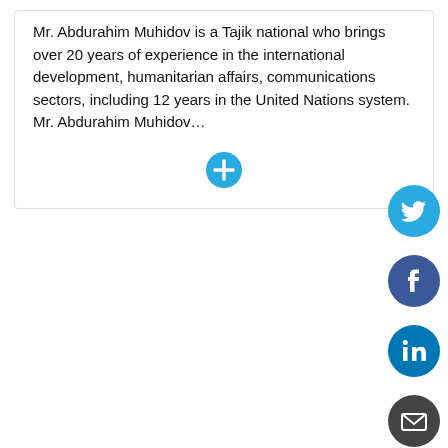Mr. Abdurahim Muhidov is a Tajik national who brings over 20 years of experience in the international development, humanitarian affairs, communications sectors, including 12 years in the United Nations system. Mr. Abdurahim Muhidov…
[Figure (other): Cyan circular plus/expand button]
[Figure (other): Social media sharing icons: Twitter (cyan), Facebook (dark blue), LinkedIn (blue), Email (dark grey)]